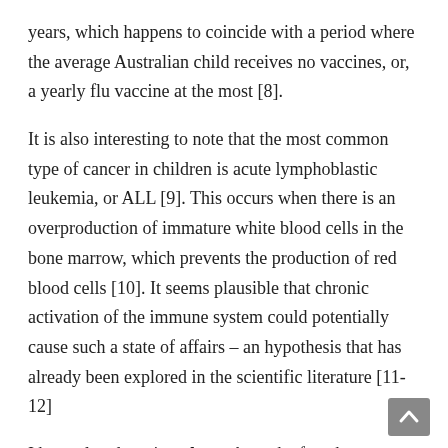years, which happens to coincide with a period where the average Australian child receives no vaccines, or, a yearly flu vaccine at the most [8].
It is also interesting to note that the most common type of cancer in children is acute lymphoblastic leukemia, or ALL [9]. This occurs when there is an overproduction of immature white blood cells in the bone marrow, which prevents the production of red blood cells [10]. It seems plausible that chronic activation of the immune system could potentially cause such a state of affairs – an hypothesis that has already been explored in the scientific literature [11-12]
I have already written here about the fact that excessive stimulation of humoral immunity (which includes antibody production – the aim of vaccination) results in suppression of cell-mediated immunity. This same immune system